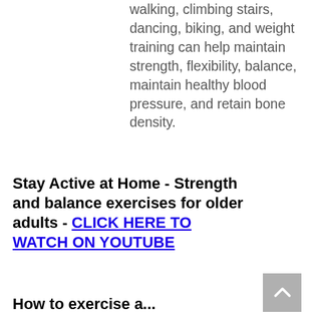walking, climbing stairs, dancing, biking, and weight training can help maintain strength, flexibility, balance, maintain healthy blood pressure, and retain bone density.
Stay Active at Home - Strength and balance exercises for older adults - CLICK HERE TO WATCH ON YOUTUBE
How to exercise a...